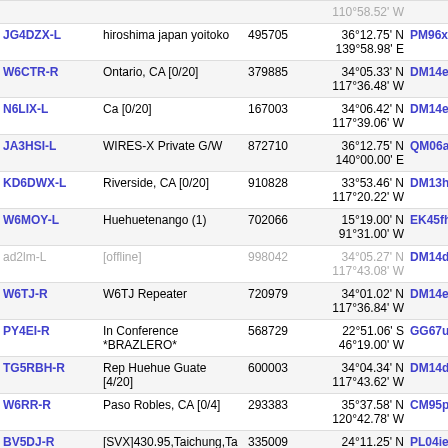| Callsign | Location | Node | Coordinates | Grid | Freq |
| --- | --- | --- | --- | --- | --- |
| JG4DZX-L | hiroshima japan yoitoko | 495705 | 36°12.75' N 139°58.98' E | PM96xf | 5781 |
| W6CTR-R | Ontario, CA [0/20] | 379885 | 34°05.33' N 117°36.48' W | DM14ec | 6218 |
| N6LIX-L | Ca [0/20] | 167003 | 34°06.42' N 117°39.06' W | DM14ec | 6218 |
| JA3HSI-L | WIRES-X Private G/W | 872710 | 36°12.75' N 140°00.00' E | QM06af | 5782 |
| KD6DWX-L | Riverside, CA [0/20] | 910828 | 33°53.46' N 117°20.22' W | DM13hv | 6222 |
| W6MOY-L | Huehuetenango (1) | 702066 | 15°19.00' N 91°31.00' W | EK45fh | 6289 |
| ad2lm-L | [offline] | 998042 | 34°05.27' N 117°43.08' W | DM14dc | 6221 |
| W6TJ-R | W6TJ Repeater | 720979 | 34°01.02' N 117°36.84' W | DM14ea | 6223 |
| PY4EI-R | In Conference *BRAZLERO* | 568729 | 22°51.06' S 46°19.00' W | GG67ud | 6157 |
| TG5RBH-R | Rep Huehue Guate [4/20] | 600003 | 34°04.34' N 117°43.62' W | DM14db | 6223 |
| W6RR-R | Paso Robles, CA [0/4] | 293383 | 35°37.58' N 120°42.78' W | CM95pp | 6212 |
| BV5DJ-R | [SVX]430.95,Taichung,Ta (4) | 335009 | 24°11.25' N 120°41.94' E | PL04ie | 5686 |
| BV5DJ-L | [SVX]434.52,Tai-hung,Taiwan | 322621 | 24°11.23' N 120°42.00' E | PL04ie | 5686 |